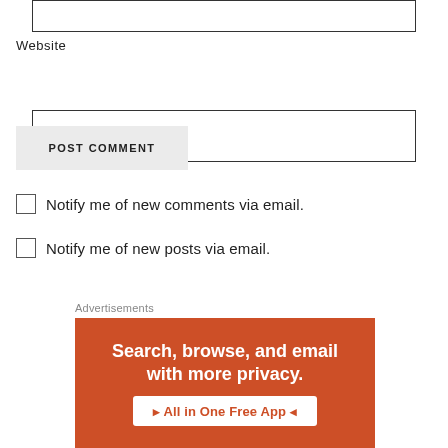[Figure (other): Empty text input box at top of page]
Website
[Figure (other): Website URL input box]
POST COMMENT
Notify me of new comments via email.
Notify me of new posts via email.
Advertisements
[Figure (infographic): Orange advertisement banner reading 'Search, browse, and email with more privacy. All in One Free App']